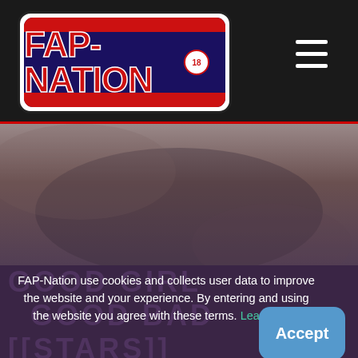[Figure (logo): FAP-Nation 18+ logo: white rounded rectangle containing a dark blue rounded inner box with red top and bottom stripes and bold red text 'FAP-NATION' with a circled 18 badge on the right]
[Figure (illustration): Blurred hero image background with muted brownish-purple tones]
FAP-Nation use cookies and collects user data to improve the website and your experience. By entering and using the website you agree with these terms. Learn More